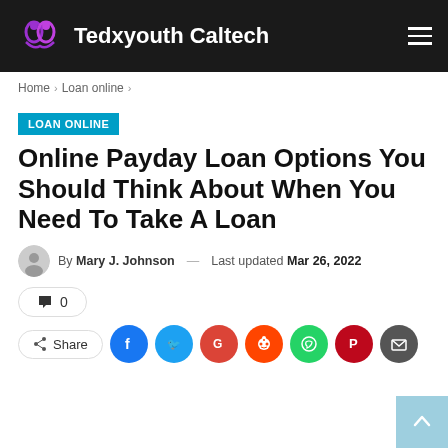Tedxyouth Caltech
Home > Loan online >
LOAN ONLINE
Online Payday Loan Options You Should Think About When You Need To Take A Loan
By Mary J. Johnson — Last updated Mar 26, 2022
0
Share